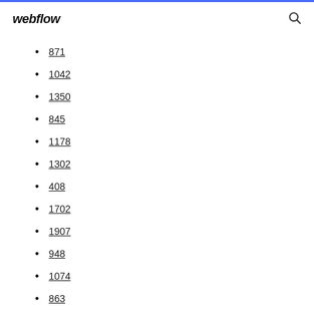webflow
871
1042
1350
845
1178
1302
408
1702
1907
948
1074
863